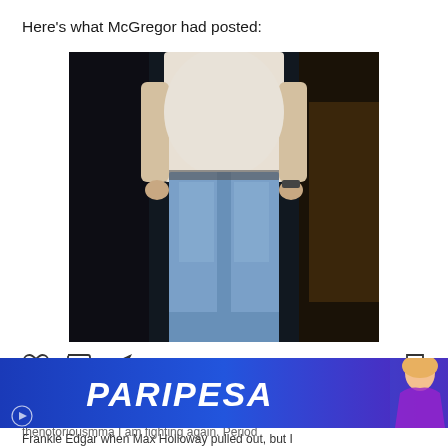Here’s what McGregor had posted:
[Figure (photo): Cropped photo of a person wearing a white long-sleeve top and light blue jeans, standing against a dark background]
[Figure (screenshot): Instagram post action icons: heart (like), comment bubble, share arrow, and bookmark. Below: Liked by rohit__ag, shauryajodha29 and 1,709,335 others. Caption beginning: thenotoriousmma I am fighting again. Period]
[Figure (advertisement): PARIPESA advertisement banner in blue/purple gradient with a blonde woman on the right]
Frankie Edgar when Max Holloway pulled out, but I